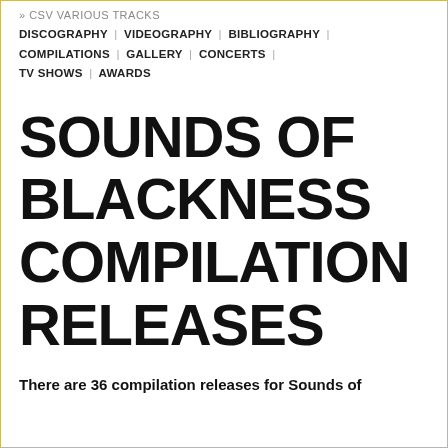» CSV VARIOUS TRACKS
DISCOGRAPHY | VIDEOGRAPHY | BIBLIOGRAPHY | COMPILATIONS | GALLERY | CONCERTS | TV SHOWS | AWARDS
SOUNDS OF BLACKNESS COMPILATION RELEASES
There are 36 compilation releases for Sounds of